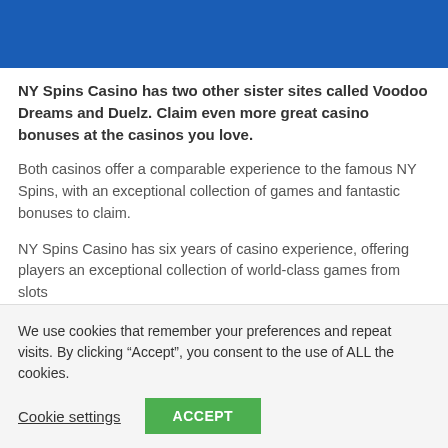[Figure (other): Blue banner/header image at the top of the page]
NY Spins Casino has two other sister sites called Voodoo Dreams and Duelz. Claim even more great casino bonuses at the casinos you love.
Both casinos offer a comparable experience to the famous NY Spins, with an exceptional collection of games and fantastic bonuses to claim.
NY Spins Casino has six years of casino experience, offering players an exceptional collection of world-class games from slots
We use cookies that remember your preferences and repeat visits. By clicking “Accept”, you consent to the use of ALL the cookies.
Cookie settings
ACCEPT